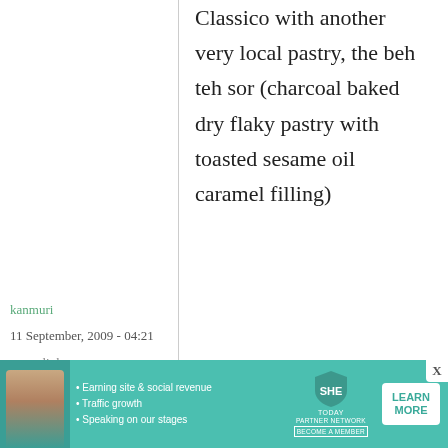Classico with another very local pastry, the beh teh sor (charcoal baked dry flaky pastry with toasted sesame oil caramel filling)
kanmuri
11 September, 2009 - 04:21
permalink
Re: Book review and giveaway: Izakaya, the
[Figure (infographic): SHE Partner Network advertisement banner with woman photo, bullet points about earning site & social revenue, traffic growth, speaking on stages, SHE TODAY logo, and LEARN MORE button]